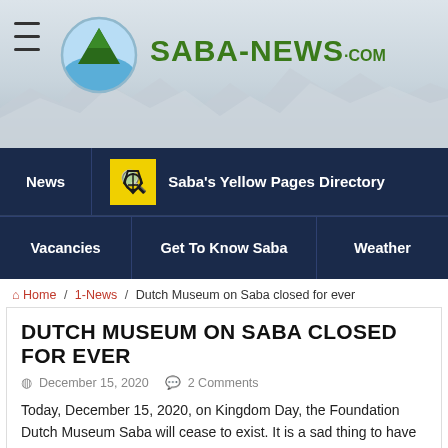[Figure (logo): Saba-News.com website header with logo circle showing mountain and water, site name in green, mountain silhouette background]
News | Saba's Yellow Pages Directory | Vacancies | Get To Know Saba | Weather
Home / 1-News / Dutch Museum on Saba closed for ever
DUTCH MUSEUM ON SABA CLOSED FOR EVER
December 15, 2020   2 Comments
Today, December 15, 2020, on Kingdom Day, the Foundation Dutch Museum Saba will cease to exist. It is a sad thing to have to announce that the lectures, presentations, and videos about the